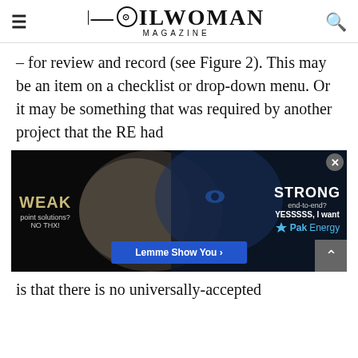OILWOMAN MAGAZINE
– for review and record (see Figure 2). This may be an item on a checklist or drop-down menu. Or it may be something that was required by another project that the RE had
[Figure (advertisement): PakEnergy advertisement showing split image of weak (lamb) vs strong (wolf). Text: WEAK point solutions? NO THX! | STRONG end-to-end? YESSSSS, I want PakEnergy. Button: Lemme Show You >]
is that there is no universally-accepted